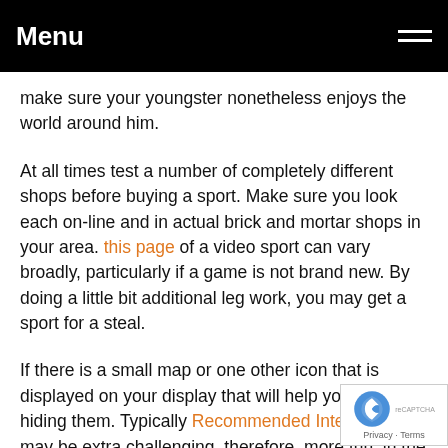Menu
make sure your youngster nonetheless enjoys the world around him.
At all times test a number of completely different shops before buying a sport. Make sure you look each on-line and in actual brick and mortar shops in your area. this page of a video sport can vary broadly, particularly if a game is not brand new. By doing a little bit additional leg work, you may get a sport for a steal.
If there is a small map or one other icon that is displayed on your display that will help you, consider hiding them. Typically Recommended Internet page may be extra challenging, therefore, more fun, in the event you go at it alone. you these out have the option of bringing the icons back when you